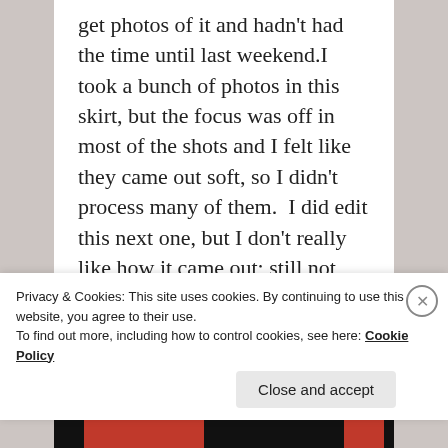get photos of it and hadn't had the time until last weekend.I took a bunch of photos in this skirt, but the focus was off in most of the shots and I felt like they came out soft, so I didn't process many of them.  I did edit this next one, but I don't really like how it came out; still not sure if I like it at all. What I do like is how it shows the great movement of the skirt.
[Figure (photo): Partial view of a photo strip — black bar at top, orange/black bands at bottom]
Privacy & Cookies: This site uses cookies. By continuing to use this website, you agree to their use.
To find out more, including how to control cookies, see here: Cookie Policy